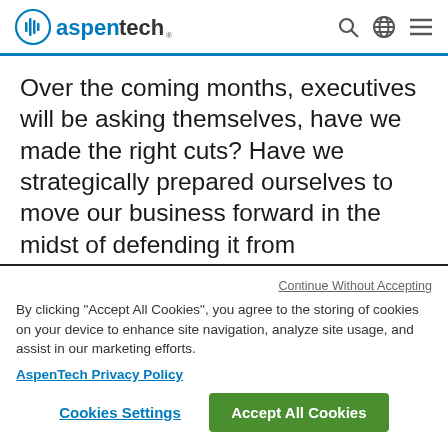aspentech navigation bar with logo, search, globe, and menu icons
Over the coming months, executives will be asking themselves, have we made the right cuts? Have we strategically prepared ourselves to move our business forward in the midst of defending it from unpredictable global events and the
Continue Without Accepting
By clicking “Accept All Cookies”, you agree to the storing of cookies on your device to enhance site navigation, analyze site usage, and assist in our marketing efforts.
AspenTech Privacy Policy
Cookies Settings
Accept All Cookies